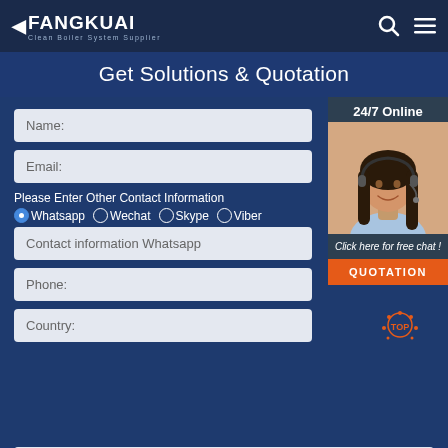FANGKUAI Clean Boiler System Supplier
Get Solutions & Quotation
Name:
Email:
Please Enter Other Contact Information
Whatsapp  Wechat  Skype  Viber
Contact information Whatsapp
Phone:
Country:
Message:
[Figure (photo): Customer service agent woman with headset, 24/7 Online panel with Click here for free chat and QUOTATION button]